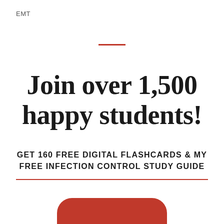EMT
Join over 1,500 happy students!
GET 160 FREE DIGITAL FLASHCARDS & MY FREE INFECTION CONTROL STUDY GUIDE